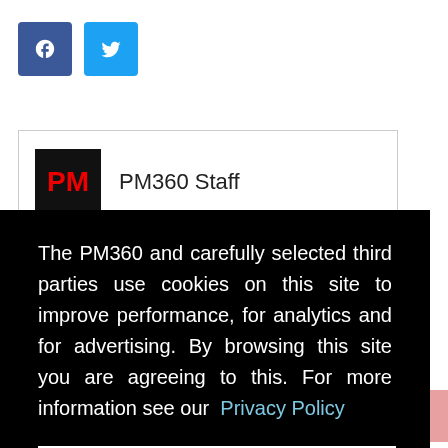[Figure (other): Facebook and Twitter social share buttons]
[Figure (other): PM360 Staff author card with PM logo and name]
The PM360 and carefully selected third parties use cookies on this site to improve performance, for analytics and for advertising. By browsing this site you are agreeing to this. For more information see our Privacy Policy
Close